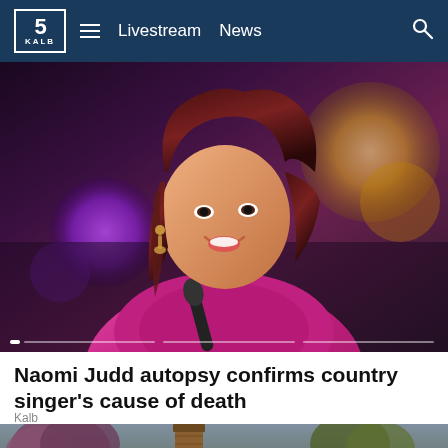5 KALB — Livestream  News
[Figure (photo): Woman with dark auburn hair wearing a bright magenta/pink blazer, singing into a microphone on stage with purple and golden bokeh lights in the background]
Naomi Judd autopsy confirms country singer's cause of death
Kalb
[Figure (photo): Outdoor scene showing rooftops of houses with trees (pink blossoms) and a brick chimney, partially dark/overcast sky]